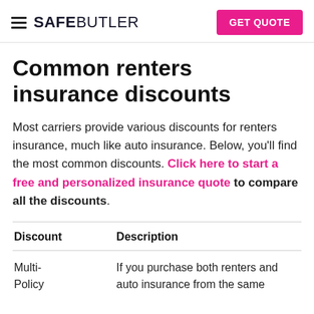SAFEBUTLER — GET QUOTE
Common renters insurance discounts
Most carriers provide various discounts for renters insurance, much like auto insurance. Below, you'll find the most common discounts. Click here to start a free and personalized insurance quote to compare all the discounts.
| Discount | Description |
| --- | --- |
| Multi-Policy | If you purchase both renters and auto insurance from the same |